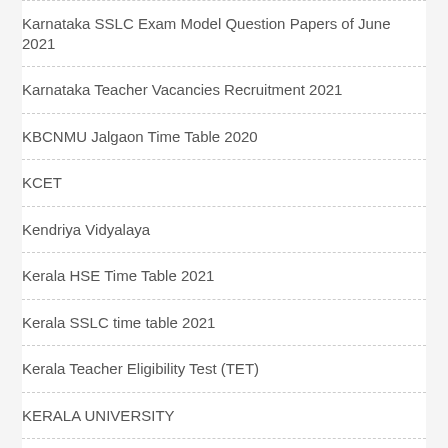Karnataka SSLC Exam Model Question Papers of June 2021
Karnataka Teacher Vacancies Recruitment 2021
KBCNMU Jalgaon Time Table 2020
KCET
Kendriya Vidyalaya
Kerala HSE Time Table 2021
Kerala SSLC time table 2021
Kerala Teacher Eligibility Test (TET)
KERALA UNIVERSITY
Kerala University of Health Science
KMAT Result 2021
KSOU Mysore – 2021 Result